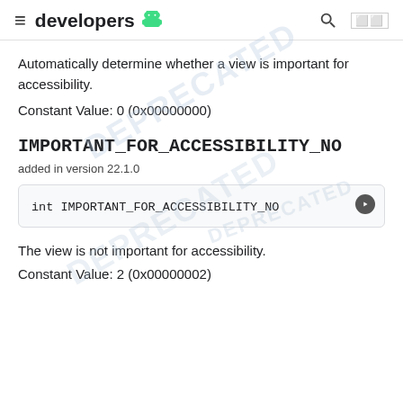≡  developers 🤖   🔍  []
Automatically determine whether a view is important for accessibility.
Constant Value: 0 (0x00000000)
IMPORTANT_FOR_ACCESSIBILITY_NO
added in version 22.1.0
| int IMPORTANT_FOR_ACCESSIBILITY_NO |
The view is not important for accessibility.
Constant Value: 2 (0x00000002)